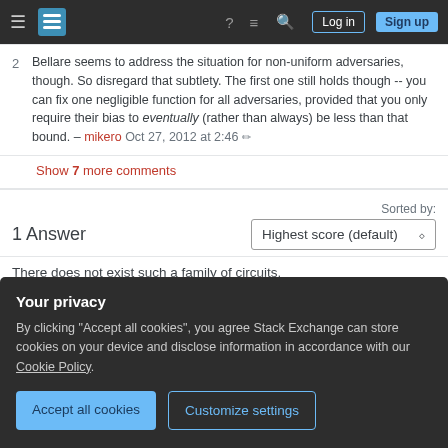Stack Exchange navigation bar with hamburger menu, logo, help, chat, search icons, Log in and Sign up buttons
2   Bellare seems to address the situation for non-uniform adversaries, though. So disregard that subtlety. The first one still holds though -- you can fix one negligible function for all adversaries, provided that you only require their bias to eventually (rather than always) be less than that bound. – mikero Oct 27, 2012 at 2:46
Show 7 more comments
1 Answer
Sorted by:
Highest score (default)
There does not exist such a family of circuits...
Your privacy
By clicking "Accept all cookies", you agree Stack Exchange can store cookies on your device and disclose information in accordance with our Cookie Policy.
Accept all cookies
Customize settings
Impagliazzo's Theorem 4.12 on page 71 of